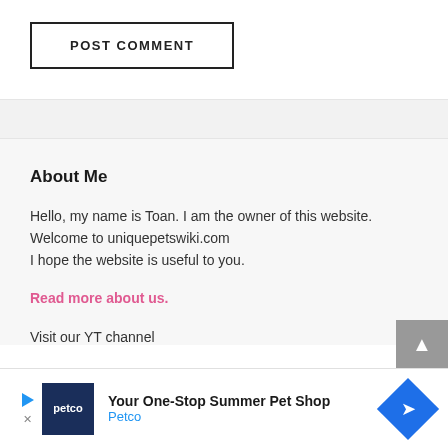[Figure (other): POST COMMENT button with black border]
About Me
Hello, my name is Toan. I am the owner of this website. Welcome to uniquepetswiki.com
I hope the website is useful to you.
Read more about us.
Visit our YT channel
[Figure (other): Petco advertisement banner: Your One-Stop Summer Pet Shop]